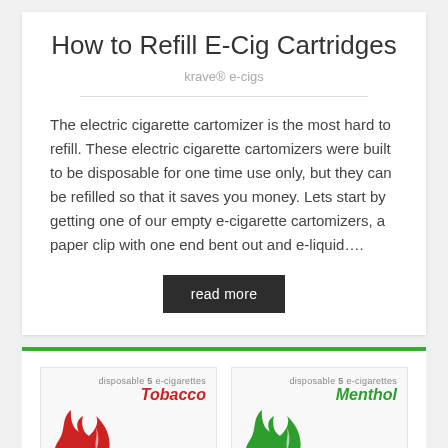How to Refill E-Cig Cartridges
krave® e-cigs
The electric cigarette cartomizer is the most hard to refill. These electric cigarette cartomizers were built to be disposable for one time use only, but they can be refilled so that it saves you money. Lets start by getting one of our empty e-cigarette cartomizers, a paper clip with one end bent out and e-liquid….
read more
[Figure (photo): Two product boxes for disposable e-cigarettes: Tobacco flavor (red branding) and Menthol flavor (green branding), each labeled 'disposable 5 e-cigarettes']